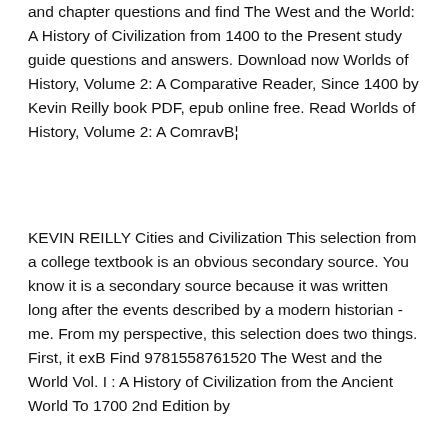and chapter questions and find The West and the World: A History of Civilization from 1400 to the Present study guide questions and answers. Download now Worlds of History, Volume 2: A Comparative Reader, Since 1400 by Kevin Reilly book PDF, epub online free. Read Worlds of History, Volume 2: A ComravВ¦
KEVIN REILLY Cities and Civilization This selection from a college textbook is an obvious secondary source. You know it is a secondary source because it was written long after the events described by a modern historian -me. From my perspective, this selection does two things. First, it exВ Find 9781558761520 The West and the World Vol. I : A History of Civilization from the Ancient World To 1700 2nd Edition by